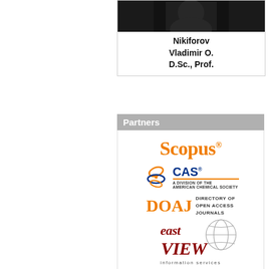[Figure (photo): Portrait photo of Nikiforov Vladimir O., D.Sc., Prof. — dark photo at top, name and title below in bold text]
Partners
[Figure (logo): Scopus logo — orange serif text with registered trademark superscript]
[Figure (logo): CAS logo — A Division of the American Chemical Society, with blue CAS letters and orange underline]
[Figure (logo): DOAJ — Directory of Open Access Journals logo, orange DOAJ letters with dark text]
[Figure (logo): East View information services logo — dark red text with globe motif]
[Figure (logo): J-Gate logo — white text on orange background with book icon]